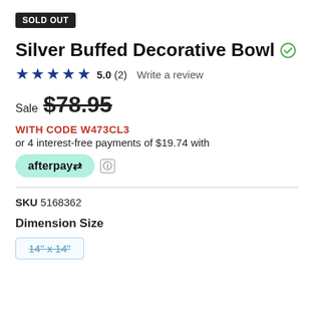SOLD OUT
Silver Buffed Decorative Bowl
5.0 (2)   Write a review
Sale $78.95
WITH CODE W473CL3
or 4 interest-free payments of $19.74 with
[Figure (logo): Afterpay logo badge in mint green rounded pill shape]
SKU 5168362
Dimension Size
14" x 14"